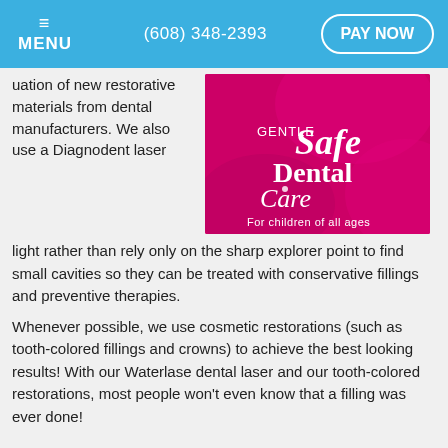≡ MENU   (608) 348-2393   PAY NOW
uation of new restorative materials from dental manufacturers. We also use a Diagnodent laser light rather than rely only on the sharp explorer point to find small cavities so they can be treated with conservative fillings and preventive therapies.
[Figure (logo): Gentle Safe Dental Care – For children of all ages logo on pink background]
Whenever possible, we use cosmetic restorations (such as tooth-colored fillings and crowns) to achieve the best looking results! With our Waterlase dental laser and our tooth-colored restorations, most people won't even know that a filling was ever done!